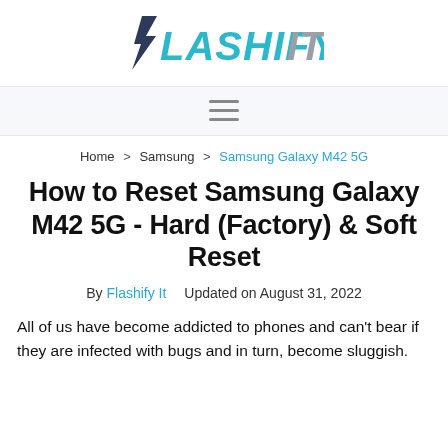FLASHIFY IT
[Figure (other): Hamburger menu icon (three horizontal lines)]
Home > Samsung > Samsung Galaxy M42 5G
How to Reset Samsung Galaxy M42 5G - Hard (Factory) & Soft Reset
By Flashify It   Updated on August 31, 2022
All of us have become addicted to phones and can't bear if they are infected with bugs and in turn, become sluggish.